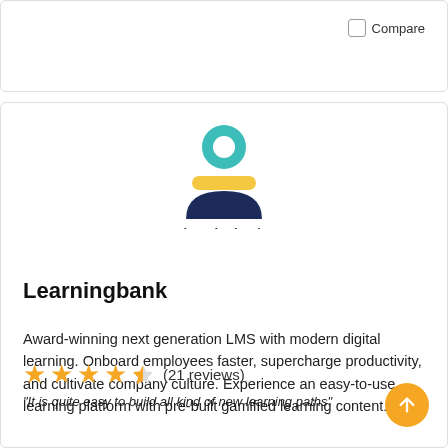Compare
[Figure (logo): Learningbank logo: teal circle/head, yellow horizontal band, dark navy arch below, text 'learningbank' in dark navy]
Learningbank
Award-winning next generation LMS with modern digital learning. Onboard employees faster, supercharge productivity, and cultivate company culture. Experience an easy-to-use learning platform with pre-built gamified learning content.
★★★★½ (21 reviews)
"It is quite easy to build all kind of new learning paths"